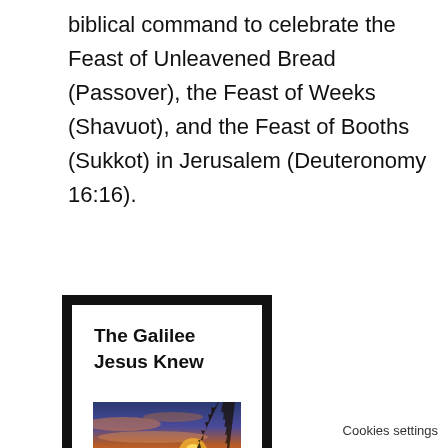biblical command to celebrate the Feast of Unleavened Bread (Passover), the Feast of Weeks (Shavuot), and the Feast of Booths (Sukkot) in Jerusalem (Deuteronomy 16:16).
[Figure (illustration): Book cover for 'The Galilee Jesus Knew' with a sunset landscape photo over water with a tree silhouette]
[Figure (illustration): Second book cover partially visible at bottom, same series, title partially cropped]
Cookies settings